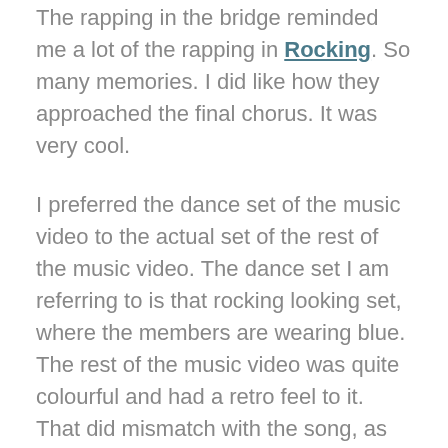The rapping in the bridge reminded me a lot of the rapping in Rocking. So many memories. I did like how they approached the final chorus. It was very cool.
I preferred the dance set of the music video to the actual set of the rest of the music video. The dance set I am referring to is that rocking looking set, where the members are wearing blue. The rest of the music video was quite colourful and had a retro feel to it. That did mismatch with the song, as the song was more of a modern day song to be honest. I find it amazing how they dance anywhere. Petrol station and the diner. The latter I thought was